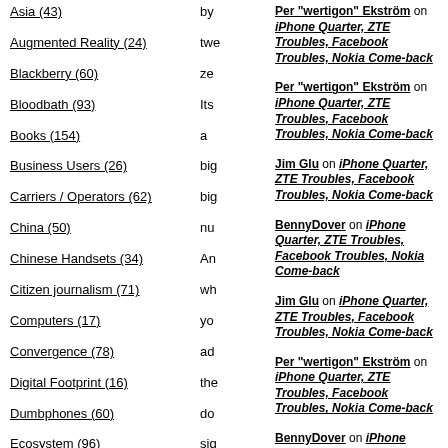Asia (43)
Augmented Reality (24)
Blackberry (60)
Bloodbath (93)
Books (154)
Business Users (26)
Carriers / Operators (62)
China (50)
Chinese Handsets (34)
Citizen journalism (71)
Computers (17)
Convergence (78)
Digital Footprint (16)
Dumbphones (60)
Ecosystem (96)
Elop (64)
Emerging World (68)
Engagement marketing (428)
by
twe
ze
Its
a
big
big
nu
An
wh
yo
ad
the
do
sig
tha
on
Tri
Per "wertigon" Ekström on iPhone Quarter, ZTE Troubles, Facebook Troubles, Nokia Come-back
Per "wertigon" Ekström on iPhone Quarter, ZTE Troubles, Facebook Troubles, Nokia Come-back
Jim Glu on iPhone Quarter, ZTE Troubles, Facebook Troubles, Nokia Come-back
BennyDover on iPhone Quarter, ZTE Troubles, Facebook Troubles, Nokia Come-back
Jim Glu on iPhone Quarter, ZTE Troubles, Facebook Troubles, Nokia Come-back
Per "wertigon" Ekström on iPhone Quarter, ZTE Troubles, Facebook Troubles, Nokia Come-back
BennyDover on iPhone Quarter, ZTE Troubles, Facebook Troubles, Nokia Come-back
Jim Glu on iPhone Quarter, ZTE Troubles, Facebook Troubles, Nokia Come-back